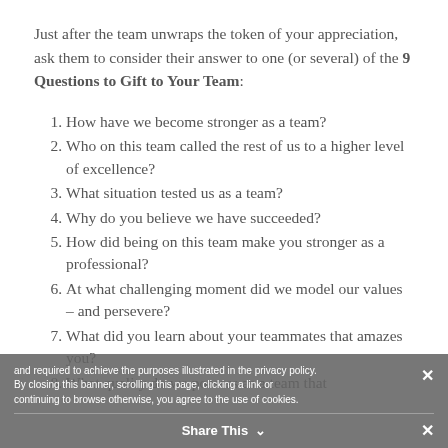Just after the team unwraps the token of your appreciation, ask them to consider their answer to one (or several) of the 9 Questions to Gift to Your Team:
1. How have we become stronger as a team?
2. Who on this team called the rest of us to a higher level of excellence?
3. What situation tested us as a team?
4. Why do you believe we have succeeded?
5. How did being on this team make you stronger as a professional?
6. At what challenging moment did we model our values – and persevere?
7. What did you learn about your teammates that amazes you?
8. What quality do we possess as a team that